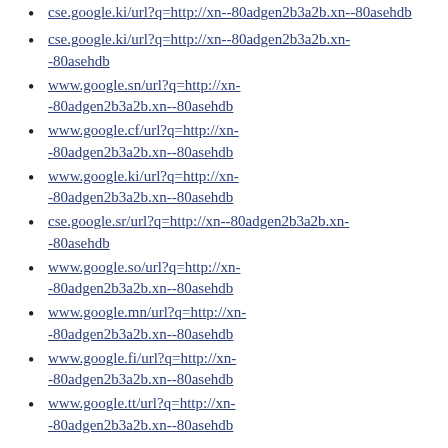cse.google.ki/url?q=http://xn--80adgen2b3a2b.xn--80asehdb
www.google.sn/url?q=http://xn--80adgen2b3a2b.xn--80asehdb
www.google.cf/url?q=http://xn--80adgen2b3a2b.xn--80asehdb
www.google.ki/url?q=http://xn--80adgen2b3a2b.xn--80asehdb
cse.google.sr/url?q=http://xn--80adgen2b3a2b.xn--80asehdb
www.google.so/url?q=http://xn--80adgen2b3a2b.xn--80asehdb
www.google.mn/url?q=http://xn--80adgen2b3a2b.xn--80asehdb
www.google.fi/url?q=http://xn--80adgen2b3a2b.xn--80asehdb
www.google.tt/url?q=http://xn--80adgen2b3a2b.xn--80asehdb